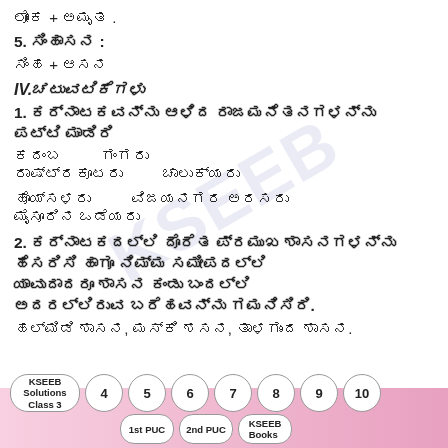ಲೋಕ + ಅಮೃತ .
5. ಸಿಂಹಾಸನ :
ಸಿಂಹ + ಆಸನ
IV.ಚಟುವಟಿಕೆಗಳು
1. ಕರ್ನಾಟಕವನ್ನು ಆಳಿದ ರಾಜಮನೆತನಗಳನ್ನು ಪಟ್ಟಿ ಮಾಡಿರಿ
ಕದಂಬ          ಗಂಗರು
ರಾಷ್ಟ್ರಕೂಟರು   ಚಾಲುಕ್ಯರು
ಹೊಯ್ಸಳರು       ವಿಜಯನಗರ ಅರಸರು
ಮೈಸೂರಿನ ಒಡೆಯರು
2. ಕರ್ನಾಟಕದಲ್ಲಿ ದೊರೆತ ಪ್ರಮುಖ ಶಾಸನಗಳನ್ನು ಹೆಸರಿಸಿ ಹಾಗೂ ನಿಮ್ಮ ಸಮೀಪದಲ್ಲಿ ಯಾವುದಾದರೂ ಶಾಸನ ಕಂಡು ಬಂದಲ್ಲಿ ಅದರಲ್ಲಿರುವ ಬರೆಹವನ್ನು ಗಮನಿಸಿರಿ.
ಹಲ್ಮಿಡಿ ಶಾಸನ, ಮಸ್ಕಿ ಶಸನ, ತಾಳಗುಂದ ಶಾಸನ.
KSEEB Solutions Class 3  4  5  6  7  8  9  10  1st PUC  2nd PUC  KSEEB Books